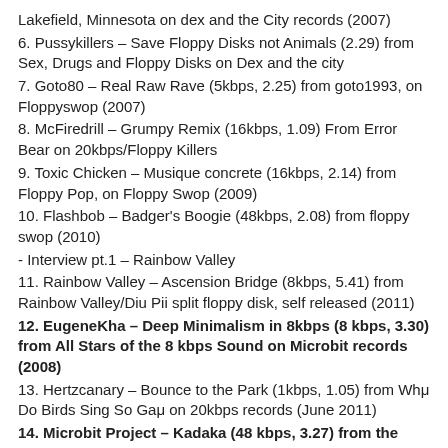Lakefield, Minnesota on dex and the City records (2007)
6. Pussykillers – Save Floppy Disks not Animals (2.29) from Sex, Drugs and Floppy Disks on Dex and the city
7. Goto80 – Real Raw Rave (5kbps, 2.25) from goto1993, on Floppyswop (2007)
8. McFiredrill – Grumpy Remix (16kbps, 1.09) From Error Bear on 20kbps/Floppy Killers
9. Toxic Chicken – Musique concrete (16kbps, 2.14) from Floppy Pop, on Floppy Swop (2009)
10. Flashbob – Badger's Boogie (48kbps, 2.08) from floppy swop (2010)
- Interview pt.1 – Rainbow Valley
11. Rainbow Valley – Ascension Bridge (8kbps, 5.41) from Rainbow Valley/Diu Pii split floppy disk, self released (2011)
12. EugeneKha – Deep Minimalism in 8kbps (8 kbps, 3.30) from All Stars of the 8 kbps Sound on Microbit records (2008)
13. Hertzcanary – Bounce to the Park (1kbps, 1.05) from Whμ Do Birds Sing So Gaμ on 20kbps records (June 2011)
14. Microbit Project – Kadaka (48 kbps, 3.27) from the Lowbit 2010 boxset on Microbit Records (Feb 2011)
- Interview Part 2 – Rainbow Valley